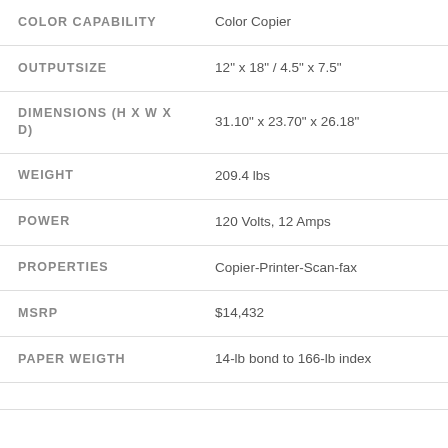| Attribute | Value |
| --- | --- |
| COLOR CAPABILITY | Color Copier |
| OUTPUTSIZE | 12" x 18" / 4.5" x 7.5" |
| DIMENSIONS (H X W X D) | 31.10" x 23.70" x 26.18" |
| WEIGHT | 209.4 lbs |
| POWER | 120 Volts, 12 Amps |
| PROPERTIES | Copier-Printer-Scan-fax |
| MSRP | $14,432 |
| PAPER WEIGTH | 14-lb bond to 166-lb index |